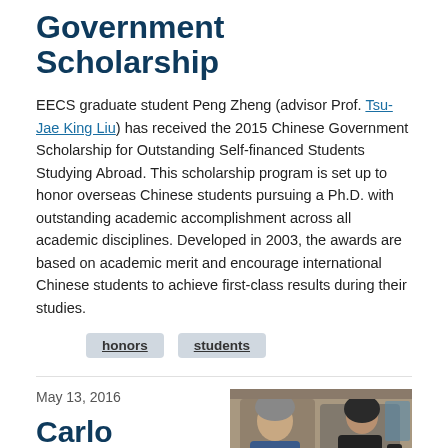Government Scholarship
EECS graduate student Peng Zheng (advisor Prof. Tsu-Jae King Liu) has received the 2015 Chinese Government Scholarship for Outstanding Self-financed Students Studying Abroad. This scholarship program is set up to honor overseas Chinese students pursuing a Ph.D. with outstanding academic accomplishment across all academic disciplines. Developed in 2003, the awards are based on academic merit and encourage international Chinese students to achieve first-class results during their studies.
honors
students
May 13, 2016
Carlo Séquin and Anca
[Figure (photo): Two people posing together in what appears to be a lab or office setting with robots or equipment visible]